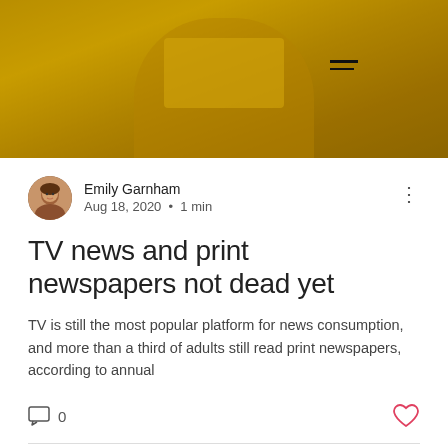[Figure (photo): Yellow-tinted photo of a person in a yellow hoodie holding a newspaper, with horizontal menu icon overlay]
Emily Garnham
Aug 18, 2020 · 1 min
TV news and print newspapers not dead yet
TV is still the most popular platform for news consumption, and more than a third of adults still read print newspapers, according to annual
[Figure (photo): Grayscale photo partially visible at bottom of page]